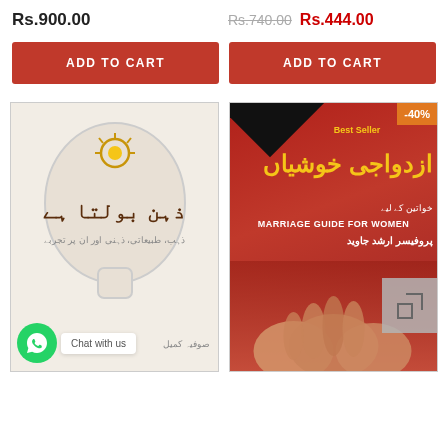Rs.900.00
Rs.740.00  Rs.444.00
ADD TO CART
ADD TO CART
[Figure (photo): Book cover: Zehen Bolta Hai (Urdu self-help book) with human head silhouette and lightbulb. WhatsApp Chat with us widget visible at bottom left.]
[Figure (photo): Book cover: Azwaji Khushiyan - Marriage Guide for Women (Urdu book with red cover showing decorated hands with henna). -40% discount badge in top right corner.]